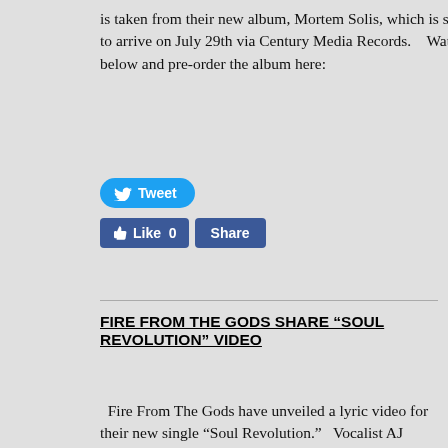is taken from their new album, Mortem Solis, which is scheduled to arrive on July 29th via Century Media Records.    Watch the clip below and pre-order the album here:
[Figure (other): Twitter Tweet button]
[Figure (other): Facebook Like 0 and Share buttons]
FIRE FROM THE GODS SHARE “SOUL REVOLUTION” VIDEO
Fire From The Gods have unveiled a lyric video for their new single “Soul Revolution.”   Vocalist AJ Channer comments:  “Over our last two tours in the states and Europe, I’ve noticed a different look in the audience’s eyes. It seems to me that we desperately need a change and are on the brink [...]
[Figure (other): Twitter Tweet button]
[Figure (other): Facebook Like 0 and Share buttons]
WA... ...ID JO... ...R BA...
[Figure (other): Tally Fast credit card payoff advertisement overlay with Download Now button]